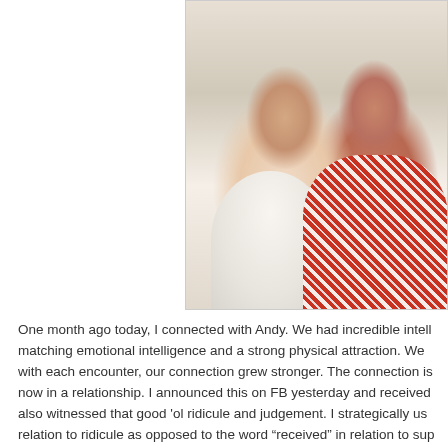[Figure (photo): A man and a woman posing together for a photo. The man is on the left wearing a white t-shirt, and the woman is on the right wearing a red patterned top. They are smiling and appear close together.]
One month ago today, I connected with Andy. We had incredible intell matching emotional intelligence and a strong physical attraction. We with each encounter, our connection grew stronger. The connection is now in a relationship. I announced this on FB yesterday and received also witnessed that good 'ol ridicule and judgement. I strategically us relation to ridicule as opposed to the word "received" in relation to sup